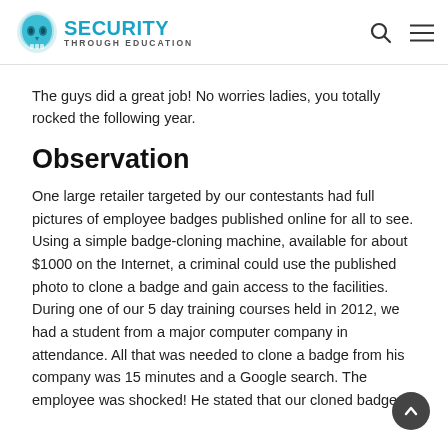Security Through Education
The guys did a great job! No worries ladies, you totally rocked the following year.
Observation
One large retailer targeted by our contestants had full pictures of employee badges published online for all to see. Using a simple badge-cloning machine, available for about $1000 on the Internet, a criminal could use the published photo to clone a badge and gain access to the facilities. During one of our 5 day training courses held in 2012, we had a student from a major computer company in attendance. All that was needed to clone a badge from his company was 15 minutes and a Google search. The employee was shocked! He stated that our cloned badge